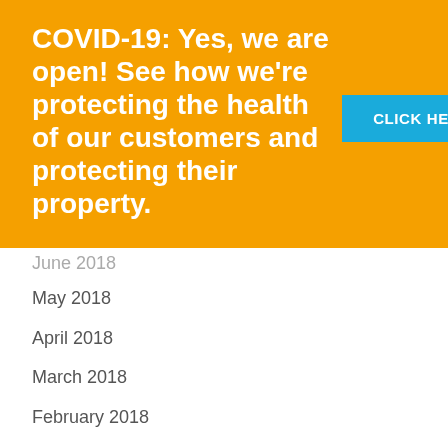[Figure (infographic): Orange banner with COVID-19 message and a blue CLICK HERE button and accessibility icon]
June 2018 (partial, cut off)
May 2018
April 2018
March 2018
February 2018
June 2017
May 2017
April 2017
March 2017 (partial, cut off)